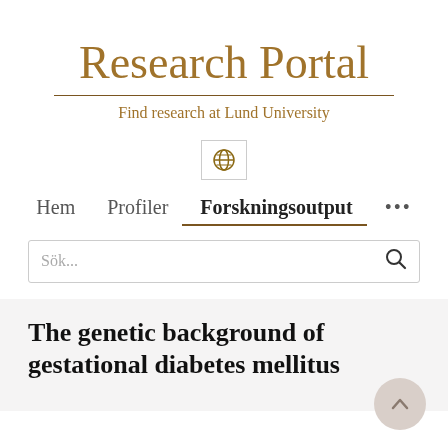Research Portal
Find research at Lund University
[Figure (other): Globe/language selector icon button]
Hem   Profiler   Forskningsoutput   ...
Sök...
The genetic background of gestational diabetes mellitus